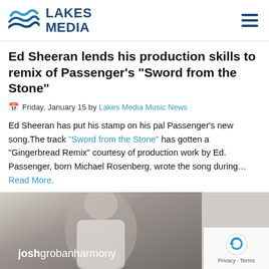LAKES MEDIA
Ed Sheeran lends his production skills to remix of Passenger's "Sword from the Stone"
Friday, January 15 by Lakes Media Music News
Ed Sheeran has put his stamp on his pal Passenger's new song.The track "Sword from the Stone" has gotten a "Gingerbread Remix" courtesy of production work by Ed. Passenger, born Michael Rosenberg, wrote the song during…
Read More.
[Figure (photo): Photo of a bearded man with album cover text reading 'joshgrobanharmony' overlaid at the bottom]